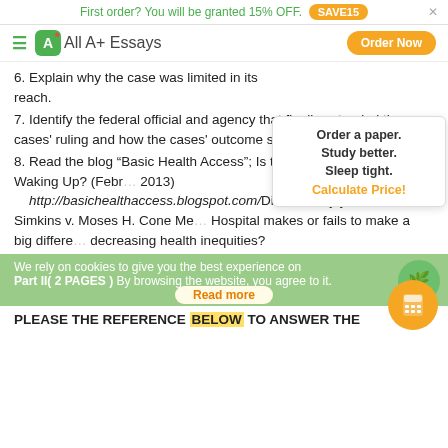First order? You will be granted 15% OFF. SAVE15
All A+ Essays | Order Now
6. Explain why the case was limited in its reach.
7. Identify the federal official and agency that finally extended the cases' ruling and how the cases' outcome spread across the Nation.
8. Read the blog “Basic Health Access”; Is t... Institutes of Medicine Waking Up? (Febr... 2013) http://basichealthaccess.blogspot.com/Discuss why you think that Simkins v. Moses H. Cone Me... Hospital makes or fails to make a big differe... decreasing health inequities?
Order a paper. Study better. Sleep tight. Calculate Price!
We rely on cookies to give you the best experience on
Part II( 2 PAGES ) By browsing the website, you agree to it.
Read more
PLEASE THE REFERENCE BELOW TO answer the following